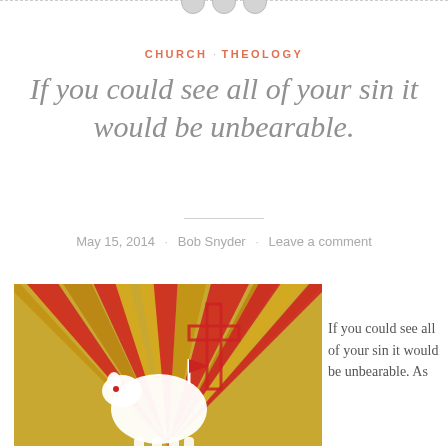CHURCH · THEOLOGY
If you could see all of your sin it would be unbearable.
May 15, 2014 · Bob Snyder · Leave a comment
[Figure (illustration): Religious illustration showing a white lamb of God (Agnus Dei) with a cross and chalice on a red and gold sunburst background]
If you could see all of your sin it would be unbearable. As